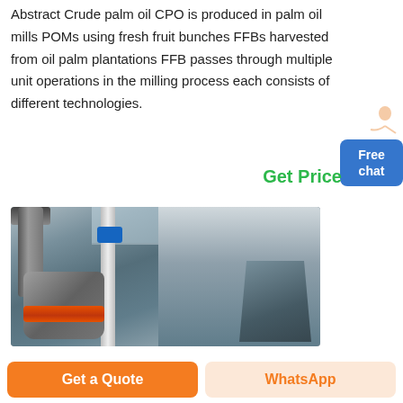Abstract Crude palm oil CPO is produced in palm oil mills POMs using fresh fruit bunches FFBs harvested from oil palm plantations FFB passes through multiple unit operations in the milling process each consists of different technologies.
Get Price
[Figure (photo): Industrial palm oil mill machinery — vertical cylindrical processing unit with orange ring band, large pipes, blue motor on top, and corrugated metal structure/hopper in the background]
Free chat
Get a Quote
WhatsApp